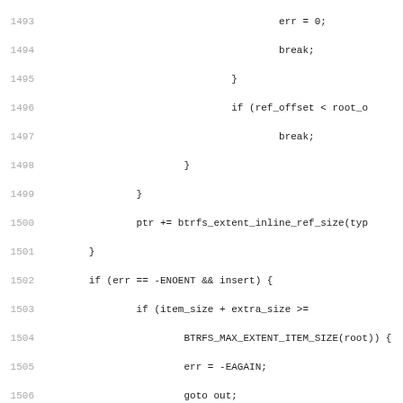Source code listing, lines 1493-1525, C code for btrfs extent inline ref handling